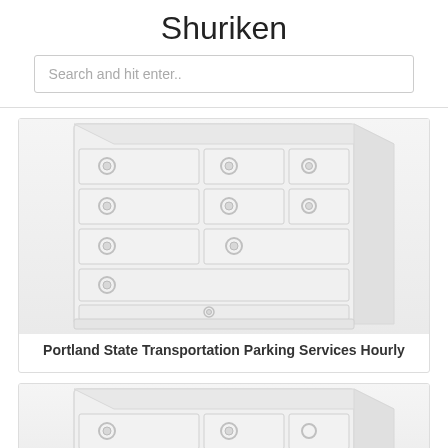Shuriken
Search and hit enter..
[Figure (screenshot): Screenshot of a server rack or drawer/cabinet unit with multiple drawers each having circular knobs, shown in light gray tones]
Portland State Transportation Parking Services Hourly
[Figure (screenshot): Partial screenshot of the same server/cabinet unit, cropped at bottom of page]